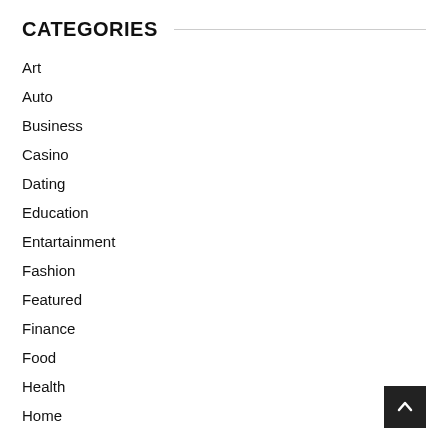CATEGORIES
Art
Auto
Business
Casino
Dating
Education
Entartainment
Fashion
Featured
Finance
Food
Health
Home